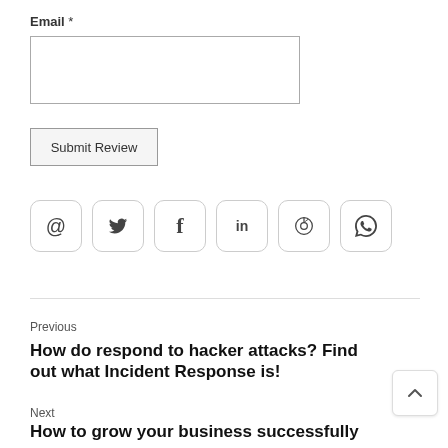Email *
Submit Review
[Figure (other): Row of 6 social share icons: email (@), Twitter (bird), Facebook (f), LinkedIn (in), Pinterest (pin), WhatsApp (speech bubble with phone)]
Previous
How do respond to hacker attacks? Find out what Incident Response is!
Next
How to grow your business successfully